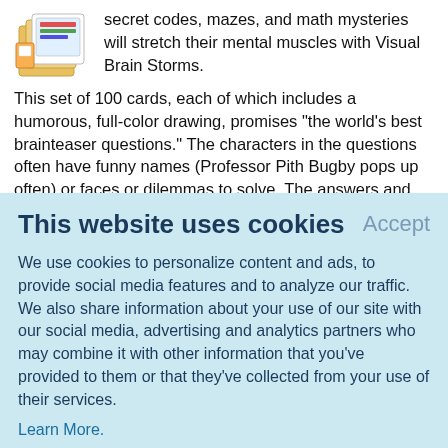secret codes, mazes, and math mysteries will stretch their mental muscles with Visual Brain Storms. This set of 100 cards, each of which includes a humorous, full-color drawing, promises "the world's best brainteaser questions." The characters in the questions often have funny names (Professor Pith Bugby pops up often) or faces or dilemmas to solve. The answers and explanations are on the back of each card, along with a related bonus question. Many of the puzzles involve math concepts, spatial reasoning, logic, or sequential thinking, but some can be
This website uses cookies
Accept
We use cookies to personalize content and ads, to provide social media features and to analyze our traffic. We also share information about your use of our site with our social media, advertising and analytics partners who may combine it with other information that you've provided to them or that they've collected from your use of their services.
Learn More.